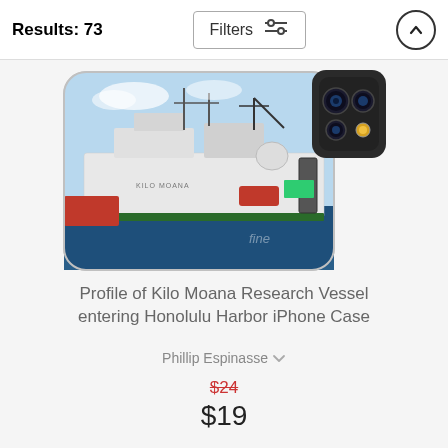Results: 73
Filters
[Figure (screenshot): iPhone case product image showing a white research vessel named Kilo Moana entering Honolulu Harbor, displayed on a phone case mockup with a dark camera module visible in the upper right corner.]
Profile of Kilo Moana Research Vessel entering Honolulu Harbor iPhone Case
Phillip Espinasse
$24
$19